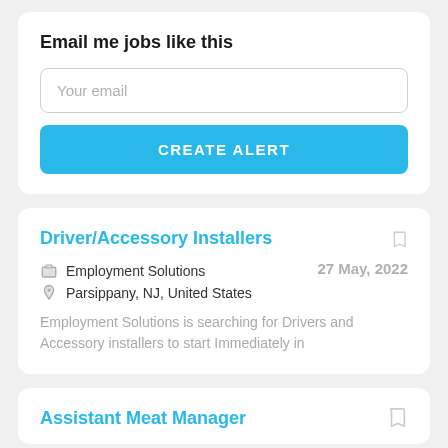Email me jobs like this
Your email
CREATE ALERT
Driver/Accessory Installers
Employment Solutions
Parsippany, NJ, United States
27 May, 2022
Employment Solutions is searching for Drivers and Accessory installers to start Immediately in
Assistant Meat Manager